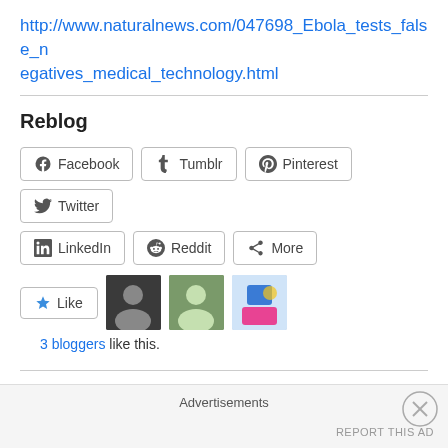http://www.naturalnews.com/047698_Ebola_tests_false_negatives_medical_technology.html
Reblog
[Figure (screenshot): Social sharing buttons: Facebook, Tumblr, Pinterest, Twitter, LinkedIn, Reddit, More]
[Figure (screenshot): Like button with star icon and 3 blogger avatars]
3 bloggers like this.
Related
Share on Tumblr
Advertisements
REPORT THIS AD